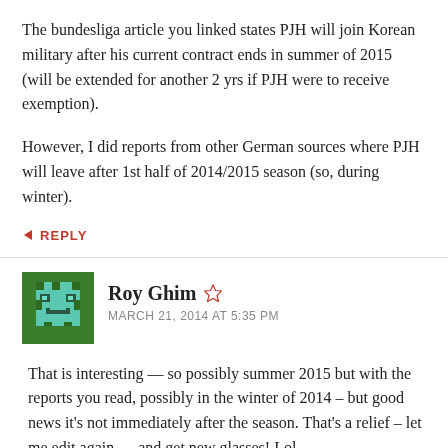The bundesliga article you linked states PJH will join Korean military after his current contract ends in summer of 2015 (will be extended for another 2 yrs if PJH were to receive exemption).
However, I did reports from other German sources where PJH will leave after 1st half of 2014/2015 season (so, during winter).
↩ REPLY
[Figure (illustration): Minecraft-style pixel avatar of Roy Ghim, green and teal colors on dark background]
Roy Ghim ☆
MARCH 21, 2014 AT 5:35 PM
That is interesting — so possibly summer 2015 but with the reports you read, possibly in the winter of 2014 – but good news it's not immediately after the season. That's a relief – let me edit again — and get new glasses! Lol